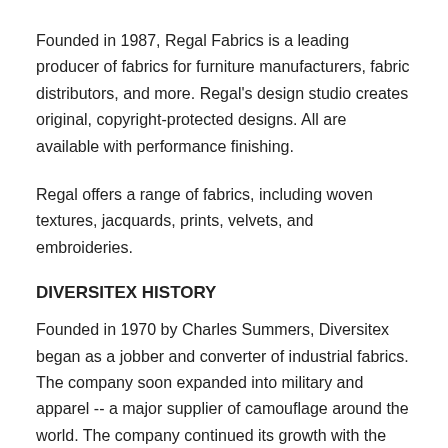Founded in 1987, Regal Fabrics is a leading producer of fabrics for furniture manufacturers, fabric distributors, and more. Regal's design studio creates original, copyright-protected designs. All are available with performance finishing.
Regal offers a range of fabrics, including woven textures, jacquards, prints, velvets, and embroideries.
DIVERSITEX HISTORY
Founded in 1970 by Charles Summers, Diversitex began as a jobber and converter of industrial fabrics. The company soon expanded into military and apparel -- a major supplier of camouflage around the world. The company continued its growth with the addition of home furnishings in the 1980...